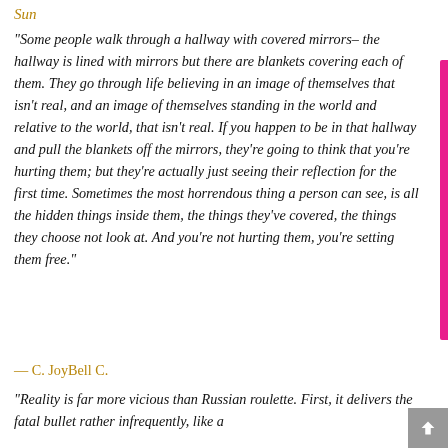Sun
“Some people walk through a hallway with covered mirrors– the hallway is lined with mirrors but there are blankets covering each of them. They go through life believing in an image of themselves that isn’t real, and an image of themselves standing in the world and relative to the world, that isn’t real. If you happen to be in that hallway and pull the blankets off the mirrors, they’re going to think that you’re hurting them; but they’re actually just seeing their reflection for the first time. Sometimes the most horrendous thing a person can see, is all the hidden things inside them, the things they’ve covered, the things they choose not look at. And you’re not hurting them, you’re setting them free.”
— C. JoyBell C.
“Reality is far more vicious than Russian roulette. First, it delivers the fatal bullet rather infrequently, like a